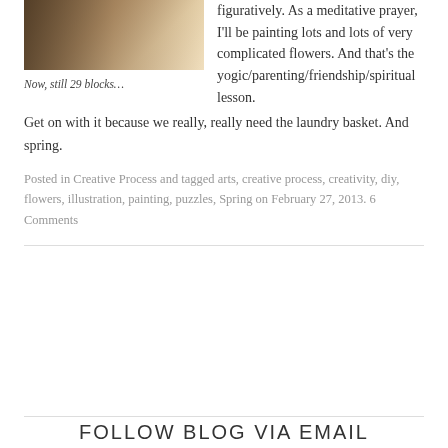[Figure (photo): Partial view of what appears to be art supplies or painted blocks on a surface, cropped at the top of the page]
Now, still 29 blocks…
figuratively.  As a meditative prayer, I'll be painting lots and lots of very complicated flowers.  And that's the yogic/parenting/friendship/spiritual lesson.  Get on with it because we really, really need the laundry basket.  And spring.
Posted in Creative Process and tagged arts, creative process, creativity, diy, flowers, illustration, painting, puzzles, Spring on February 27, 2013. 6 Comments
FOLLOW BLOG VIA EMAIL